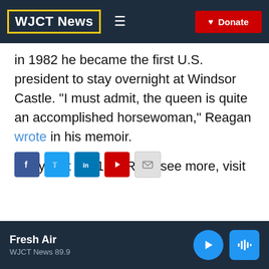WJCT News
in 1982 he became the first U.S. president to stay overnight at Windsor Castle. "I must admit, the queen is quite an accomplished horsewoman," Reagan wrote in his memoir.
Copyright 2021 NPR. To see more, visit https://www.npr.org.
National News
Fresh Air
WJCT News 89.9